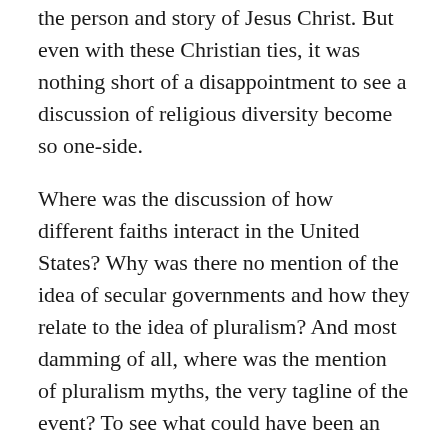the person and story of Jesus Christ. But even with these Christian ties, it was nothing short of a disappointment to see a discussion of religious diversity become so one-side.
Where was the discussion of how different faiths interact in the United States? Why was there no mention of the idea of secular governments and how they relate to the idea of pluralism? And most damming of all, where was the mention of pluralism myths, the very tagline of the event? To see what could have been an engaging discussion between two such interesting speakers turn into so much less was both disappointing and frustrating.